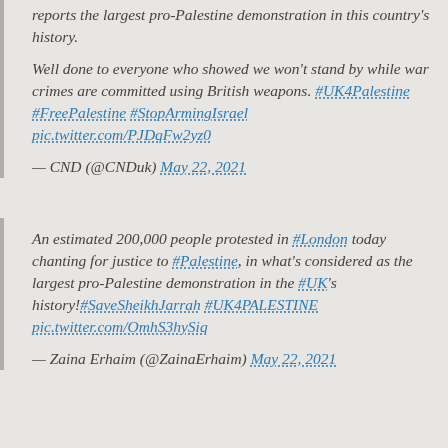reports the largest pro-Palestine demonstration in this country's history.

Well done to everyone who showed we won't stand by while war crimes are committed using British weapons. #UK4Palestine #FreePalestine #StopArmingIsrael pic.twitter.com/PJDqFw2yz0
— CND (@CNDuk) May 22, 2021
An estimated 200,000 people protested in #London today chanting for justice to #Palestine, in what's considered as the largest pro-Palestine demonstration in the #UK's history!#SaveSheikhJarrah #UK4PALESTINE pic.twitter.com/OmhS3hySiq
— Zaina Erhaim (@ZainaErhaim) May 22, 2021